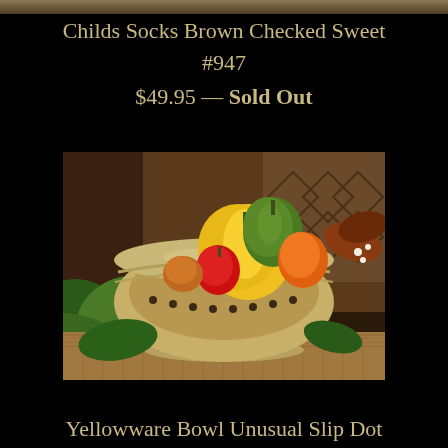Childs Socks Brown Checked Sweet
#947
$49.95 — Sold Out
[Figure (photo): A ceramic yellowware bowl with dark dot pattern around the rim, filled with colorful bell peppers and gourds, displayed on burlap with autumn leaves and foliage in the background.]
Yellowware Bowl Unusual Slip Dot